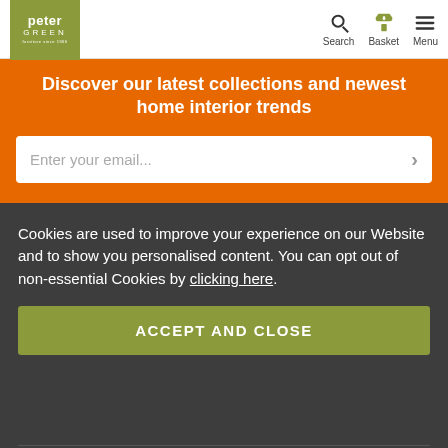[Figure (logo): Peter Green logo - olive green square with white text]
Search | Basket (0) | Menu
Discover our latest collections and newest home interior trends
Enter your email...
Cookies are used to improve your experience on our Website and to show you personalised content. You can opt out of non-essential Cookies by clicking here.
ACCEPT AND CLOSE
LOCATION
OPENING TIMES
INFORMATION